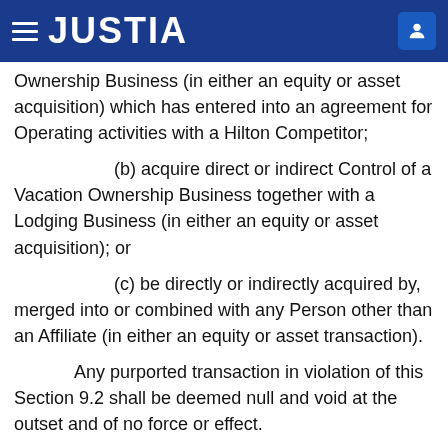JUSTIA
Ownership Business (in either an equity or asset acquisition) which has entered into an agreement for Operating activities with a Hilton Competitor;
(b) acquire direct or indirect Control of a Vacation Ownership Business together with a Lodging Business (in either an equity or asset acquisition); or
(c) be directly or indirectly acquired by, merged into or combined with any Person other than an Affiliate (in either an equity or asset transaction).
Any purported transaction in violation of this Section 9.2 shall be deemed null and void at the outset and of no force or effect.
Section 9.3    Acquisitions